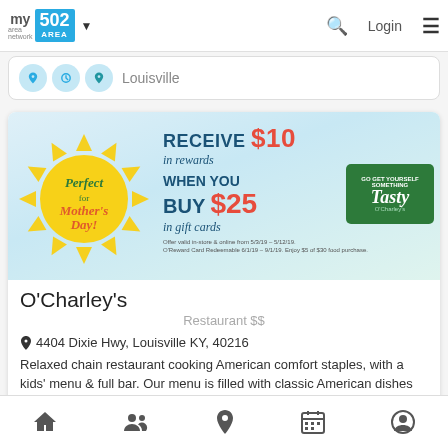my area network | 502 AREA | Login
Louisville
[Figure (infographic): O'Charley's Mother's Day promotional banner: 'Perfect for Mother's Day! RECEIVE $10 in rewards WHEN YOU BUY $25 in gift cards. Go Get Yourself Something Tasty.' with a sun graphic and gift card image.]
O'Charley's
Restaurant $$
4404 Dixie Hwy, Louisville KY, 40216
Relaxed chain restaurant cooking American comfort staples, with a kids' menu & full bar. Our menu is filled with classic American dishes like steak, salmon,...
Home | Groups | Location | Calendar | Profile